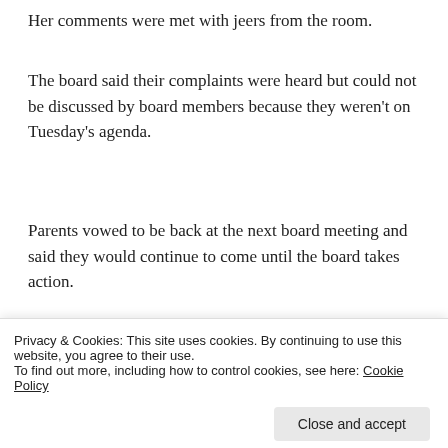Her comments were met with jeers from the room.
The board said their complaints were heard but could not be discussed by board members because they weren't on Tuesday's agenda.
Parents vowed to be back at the next board meeting and said they would continue to come until the board takes action.
Share this:
[Figure (screenshot): Social share buttons: Twitter, Facebook, Reddit, LinkedIn, Pinterest, More]
Privacy & Cookies: This site uses cookies. By continuing to use this website, you agree to their use.
To find out more, including how to control cookies, see here: Cookie Policy
Close and accept